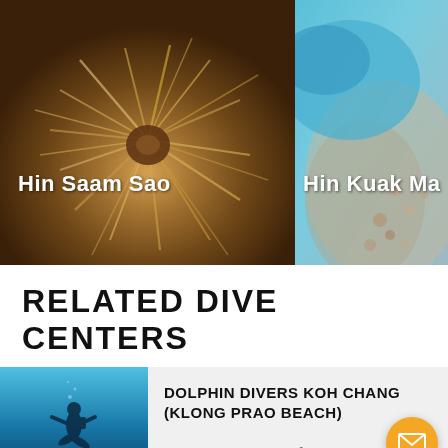[Figure (photo): Two underwater/marine photos side by side. Left: close-up of a spiny sea creature (possibly a sea urchin or feather duster worm) with brown and white spines, labeled 'Hin Saam Sao'. Right: partial photo showing a blue fish or ray over coral/rock, labeled 'Hin Kuak Ma'.]
RELATED DIVE CENTERS
[Figure (photo): Thumbnail photo of a scuba diver silhouette in blue water for the Dolphin Divers Koh Chang listing.]
DOLPHIN DIVERS KOH CHANG (KLONG PRAO BEACH)
1 DAY / 2 DIVES
from USD88